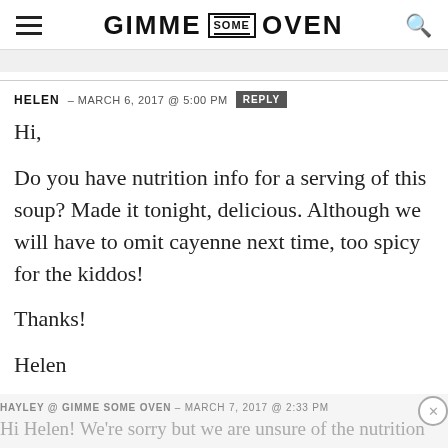GIMME SOME OVEN
HELEN – MARCH 6, 2017 @ 5:00 PM  REPLY
Hi,

Do you have nutrition info for a serving of this soup? Made it tonight, delicious. Although we will have to omit cayenne next time, too spicy for the kiddos!

Thanks!

Helen
HAYLEY @ GIMME SOME OVEN – MARCH 7, 2017 @ 2:33 PM

Hi Helen! We're sorry but we are unsure of the nutrition